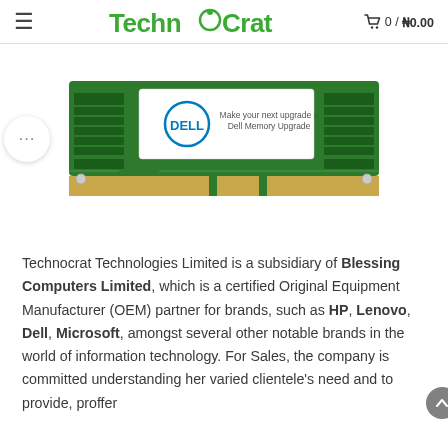TechnoCrat  0 / ₦0.00
[Figure (photo): Dell branded RAM memory stick (SO-DIMM) with green PCB, gold contacts, Dell logo and text 'Make your next upgrade a Dell Memory Upgrade']
Technocrat Technologies Limited is a subsidiary of Blessing Computers Limited, which is a certified Original Equipment Manufacturer (OEM) partner for brands, such as HP, Lenovo, Dell, Microsoft, amongst several other notable brands in the world of information technology. For Sales, the company is committed understanding her varied clientele's need and to provide, proffer